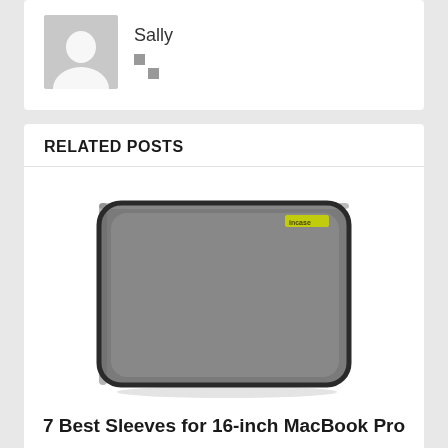[Figure (illustration): Gray avatar placeholder icon with silhouette of a person]
Sally
[Figure (illustration): Two small gray squares arranged diagonally, indicating a rating or social indicator]
RELATED POSTS
[Figure (photo): Gray fabric laptop sleeve (Incase brand) for MacBook Pro, shown at a slight angle on white background]
7 Best Sleeves for 16-inch MacBook Pro